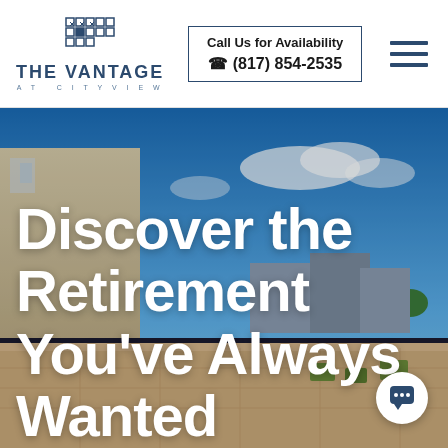[Figure (logo): The Vantage at CityView logo with decorative grid icon above the text]
Call Us for Availability
☎ (817) 854-2535
[Figure (other): Hamburger menu icon with three horizontal lines]
[Figure (photo): Outdoor rooftop terrace/patio area of retirement community with lounge chairs, trees, residential buildings in background and blue sky]
Discover the Retirement You've Always Wanted